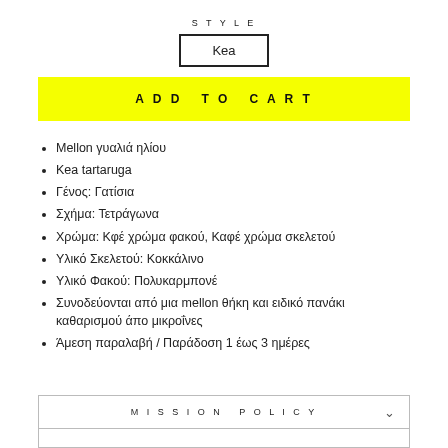STYLE
Kea
ADD TO CART
Mellon γυαλιά ηλίου
Kea tartaruga
Γένος: Γατίσια
Σχήμα: Τετράγωνα
Χρώμα: Κφέ χρώμα φακού, Καφέ χρώμα σκελετού
Υλικό Σκελετού: Κοκκάλινο
Υλικό Φακού: Πολυκαρμπονέ
Συνοδεύονται από μια mellon θήκη και ειδικό πανάκι καθαρισμού άπο μικροΐνες
Άμεση παραλαβή / Παράδοση 1 έως 3 ημέρες
MISSION POLICY